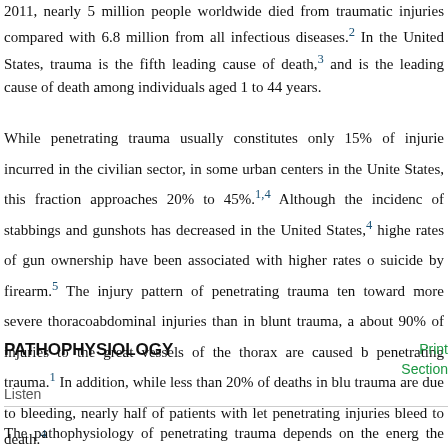2011, nearly 5 million people worldwide died from traumatic injuries, compared with 6.8 million from all infectious diseases.2 In the United States, trauma is the fifth leading cause of death,3 and is the leading cause of death among individuals aged 1 to 44 years.
While penetrating trauma usually constitutes only 15% of injuries incurred in the civilian sector, in some urban centers in the United States, this fraction approaches 20% to 45%.1,4 Although the incidence of stabbings and gunshots has decreased in the United States,4 higher rates of gun ownership have been associated with higher rates of suicide by firearm.5 The injury pattern of penetrating trauma tends toward more severe thoracoabdominal injuries than in blunt trauma, and about 90% of injuries to the great vessels of the thorax are caused by penetrating trauma.1 In addition, while less than 20% of deaths in blunt trauma are due to bleeding, nearly half of patients with lethal penetrating injuries bleed to death.4
PATHOPHYSIOLOGY
Print Section
Listen
The pathophysiology of penetrating trauma depends on the energy of the injury and the type of projectile. In a study of injuries from the 90%...